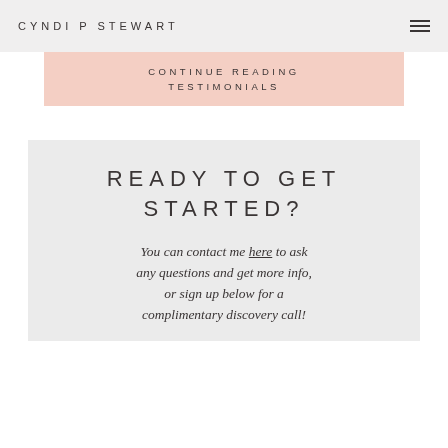CYNDI P STEWART
CONTINUE READING
TESTIMONIALS
READY TO GET STARTED?
You can contact me here to ask any questions and get more info, or sign up below for a complimentary discovery call!